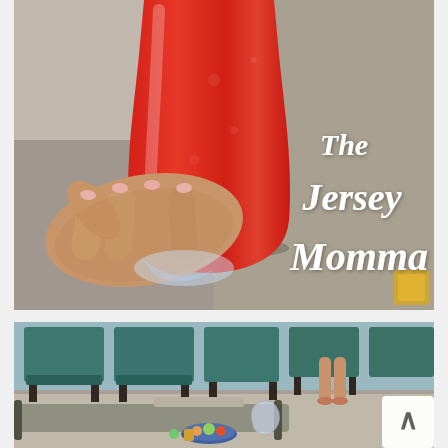[Figure (photo): Close-up photo of a hand holding a large red frozen slush drink (Italian ice or frozen cocktail) against a sandy/concrete beach background. White script text overlay reads 'The Jersey Momma'.]
[Figure (photo): Photo of teal/green beach chairs arranged on concrete at a beach or pool area, with a lounge chair in the foreground holding snacks and a bag, and a person's legs visible in the background. A white scroll-to-top button is visible in the bottom right corner.]